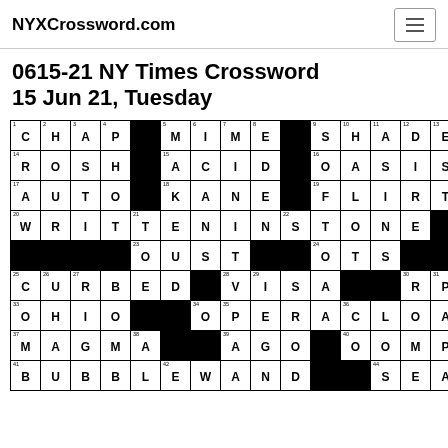NYXCrossword.com
0615-21 NY Times Crossword 15 Jun 21, Tuesday
[Figure (other): Partially visible NY Times crossword puzzle grid dated June 15, 2021 with answers filled in. Visible answers include CHAP, MIME, SHADE, ROSH, ACID, OASIS, AUTO, KANE, FLIRT, WRITTENINSTONE, OUST, OTS, CURBED, VISA, RPS, OHIO, OPERACLOAK, MAGMA, AGO, OOMPA, BUBBLEWAND, SEAT]